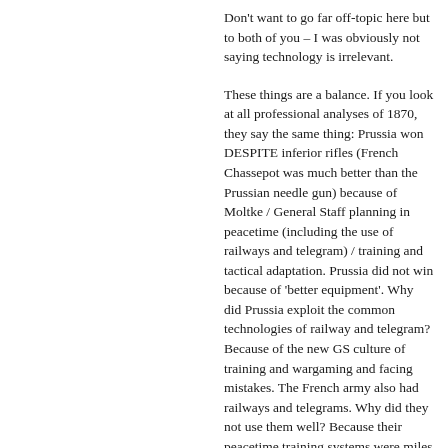Don't want to go far off-topic here but to both of you – I was obviously not saying technology is irrelevant.
These things are a balance. If you look at all professional analyses of 1870, they say the same thing: Prussia won DESPITE inferior rifles (French Chassepot was much better than the Prussian needle gun) because of Moltke / General Staff planning in peacetime (including the use of railways and telegram) / training and tactical adaptation. Prussia did not win because of 'better equipment'. Why did Prussia exploit the common technologies of railway and telegram? Because of the new GS culture of training and wargaming and facing mistakes. The French army also had railways and telegrams. Why did they not use them well? Because their peacetime training systems were miles behind Prussia. All this is why European states made such huge efforts post-1870